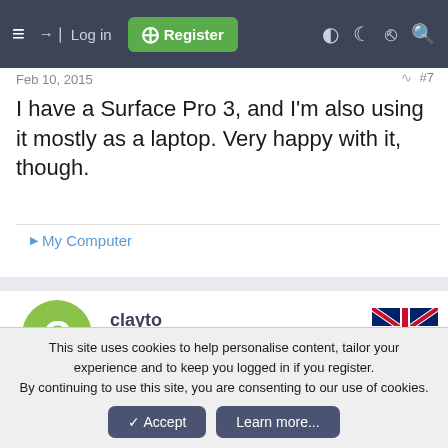≡  Log in  Register
Feb 10, 2015
I have a Surface Pro 3, and I'm also using it mostly as a laptop. Very happy with it, though.
▶ My Computer
clayto
New Member
Feb 11, 2015
I have a Quantum View 10.1 Tablet with W8.1 and
This site uses cookies to help personalise content, tailor your experience and to keep you logged in if you register.
By continuing to use this site, you are consenting to our use of cookies.